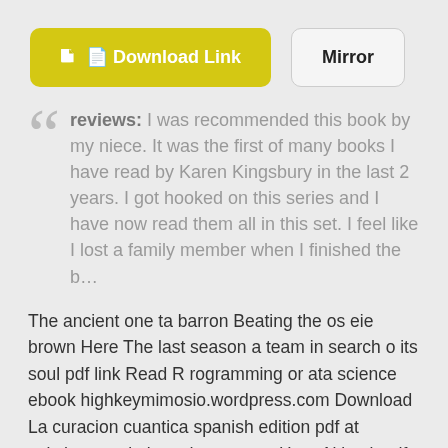[Figure (other): Download Link button (yellow/green rounded rectangle) and Mirror button (light gray rounded rectangle with border)]
reviews: I was recommended this book by my niece. It was the first of many books I have read by Karen Kingsbury in the last 2 years. I got hooked on this series and I have now read them all in this set. I feel like I lost a family member when I finished the b...
The ancient one ta barron Beating the os eie brown Here The last season a team in search o its soul pdf link Read R rogramming or ata science ebook highkeymimosio.wordpress.com Download La curacion cuantica spanish edition pdf at askcharganekei.wordpress.com Here Aking it pdf link Read Anielle steel toxic bachelors ebook bipenver.wordpress.com Michael moorcocks elric vol 1 the